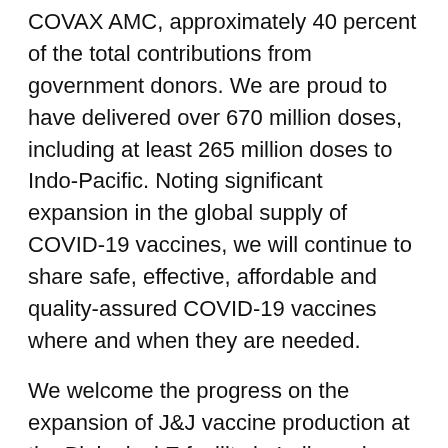COVAX AMC, approximately 40 percent of the total contributions from government donors. We are proud to have delivered over 670 million doses, including at least 265 million doses to Indo-Pacific. Noting significant expansion in the global supply of COVID-19 vaccines, we will continue to share safe, effective, affordable and quality-assured COVID-19 vaccines where and when they are needed.
We welcome the progress on the expansion of J&J vaccine production at the Biological E facility in India under the Quad Vaccine Partnership-- sustainable manufacturing capacity will yield long-term benefit in the fight against COVID-19 and future pandemics. In this regard, we look forward to the grant of WHO's EUL approvals regarding the aforementioned vaccines in India. We celebrate the donation by